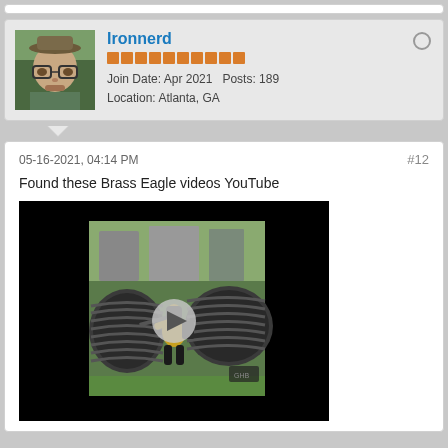[Figure (screenshot): Forum post screenshot showing user Ironnerd's profile card with avatar photo of a man wearing a hat and glasses, orange reputation bars, join date April 2021, 189 posts, location Atlanta GA, and a post containing a YouTube video thumbnail of a paintball player crouching near corrugated pipes]
Ironnerd
Join Date: Apr 2021   Posts: 189
Location: Atlanta, GA
05-16-2021, 04:14 PM
#12
Found these Brass Eagle videos YouTube